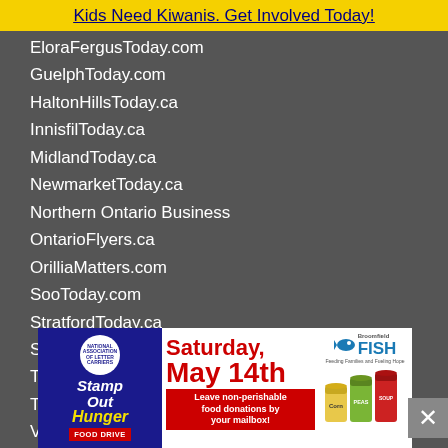Kids Need Kiwanis. Get Involved Today!
EloraFergusToday.com
GuelphToday.com
HaltonHillsToday.ca
InnisfilToday.ca
MidlandToday.ca
NewmarketToday.ca
Northern Ontario Business
OntarioFlyers.ca
OrilliaMatters.com
SooToday.com
StratfordToday.ca
Sudbury.com
ThoroldToday.ca
TimminsToday.com
Village Report
AlimoshoToday.com
BroomfieldLeader
LongmontLeader
[Figure (infographic): Stamp Out Hunger Food Drive advertisement for Saturday, May 14th by National Association of Letter Carriers and Broomfield FISH. Leave non-perishable food donations by your mailbox.]